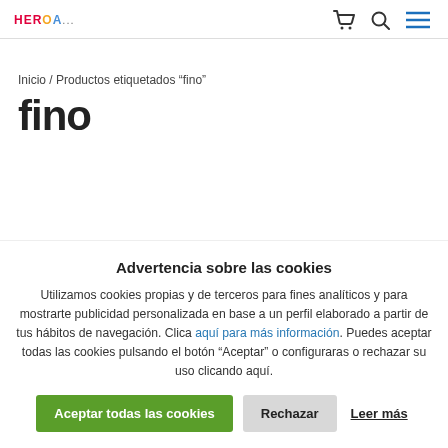HEROA... [logo]
Inicio / Productos etiquetados “fino”
fino
Advertencia sobre las cookies
Utilizamos cookies propias y de terceros para fines analíticos y para mostrarte publicidad personalizada en base a un perfil elaborado a partir de tus hábitos de navegación. Clica aquí para más información. Puedes aceptar todas las cookies pulsando el botón “Aceptar” o configuraras o rechazar su uso clicando aquí.
Aceptar todas las cookies | Rechazar | Leer más